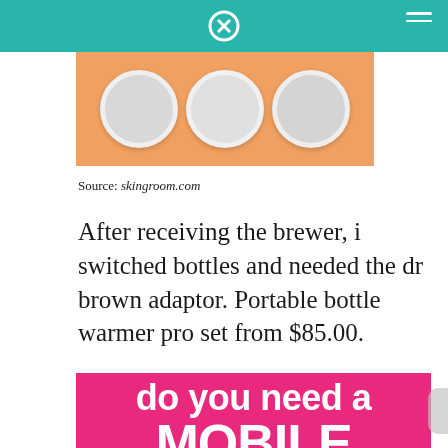[Figure (photo): Product image on orange background showing round white disc-shaped items]
Source: skingroom.com
After receiving the brewer, i switched bottles and needed the dr brown adaptor. Portable bottle warmer pro set from $85.00.
[Figure (infographic): Pink/magenta background with bold white text reading 'do you need a MOBILE bottle warmer?' in large bold font]